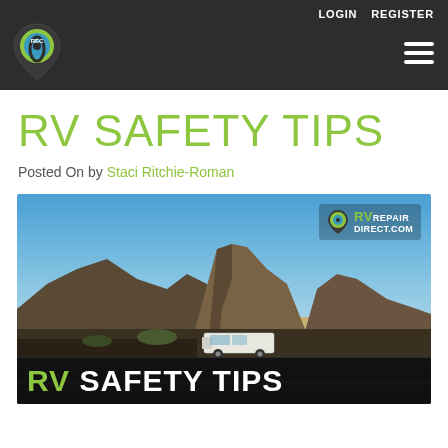LOGIN  REGISTER
[Figure (logo): RV Repair Direct logo — green map pin shape with 'REC' text and road graphic]
RV SAFETY TIPS
Posted On by Staci Ritchie-Roman
[Figure (photo): Photo of an RV driving on a road through desert badlands with rocky formations and blue sky. Watermark reads 'RVREPAIRDIRECT.COM'. Bottom dark bar reads 'RV SAFETY TIPS' in bold white/green text.]